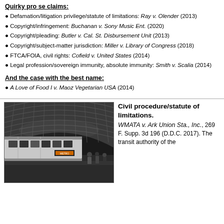Quirky pro se claims:
Defamation/litigation privilege/statute of limitations: Ray v. Olender (2013)
Copyright/infringement: Buchanan v. Sony Music Ent. (2020)
Copyright/pleading: Butler v. Cal. St. Disbursement Unit (2013)
Copyright/subject-matter jurisdiction: Miller v. Library of Congress (2018)
FTCA/FOIA, civil rights: Cofield v. United States (2014)
Legal profession/sovereign immunity, absolute immunity: Smith v. Scalia (2014)
And the case with the best name:
A Love of Food I v. Maoz Vegetarian USA (2014)
[Figure (photo): Interior of a Washington DC Metro station showing a train at the platform, with the distinctive coffered concrete vault ceiling arching overhead and commuters on the platform.]
Civil procedure/statute of limitations. WMATA v. Ark Union Sta., Inc., 269 F. Supp. 3d 196 (D.D.C. 2017). The transit authority of the